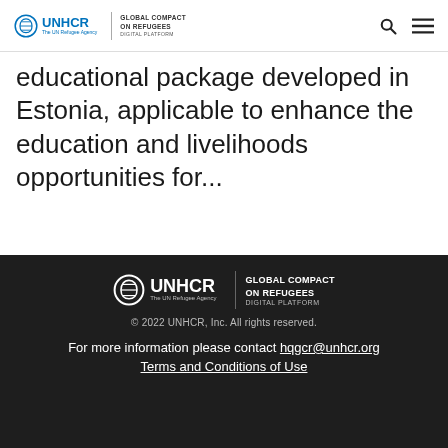UNHCR | GLOBAL COMPACT ON REFUGEES DIGITAL PLATFORM
educational package developed in Estonia, applicable to enhance the education and livelihoods opportunities for...
© 2022 UNHCR, Inc. All rights reserved.
For more information please contact hqgcr@unhcr.org
Terms and Conditions of Use